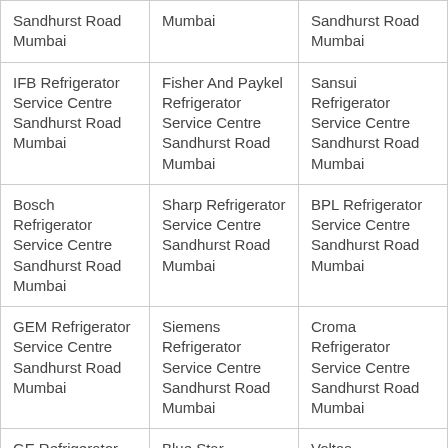| Sandhurst Road Mumbai | Mumbai | Sandhurst Road Mumbai |
| IFB Refrigerator Service Centre Sandhurst Road Mumbai | Fisher And Paykel Refrigerator Service Centre Sandhurst Road Mumbai | Sansui Refrigerator Service Centre Sandhurst Road Mumbai |
| Bosch Refrigerator Service Centre Sandhurst Road Mumbai | Sharp Refrigerator Service Centre Sandhurst Road Mumbai | BPL Refrigerator Service Centre Sandhurst Road Mumbai |
| GEM Refrigerator Service Centre Sandhurst Road Mumbai | Siemens Refrigerator Service Centre Sandhurst Road Mumbai | Croma Refrigerator Service Centre Sandhurst Road Mumbai |
| GE Refrigerator Service Centre | Blue Star Refrigerator Service Centre | Voltas Refrigerator |